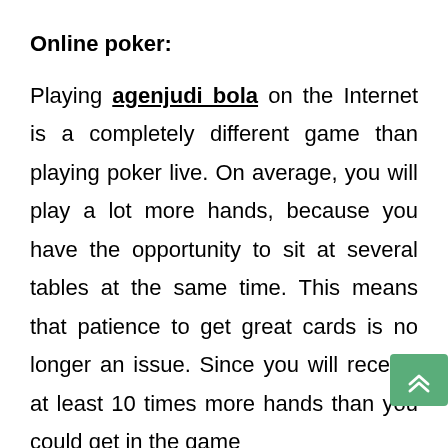Online poker:
Playing agenjudi bola on the Internet is a completely different game than playing poker live. On average, you will play a lot more hands, because you have the opportunity to sit at several tables at the same time. This means that patience to get great cards is no longer an issue. Since you will receive at least 10 times more hands than you could get in the game